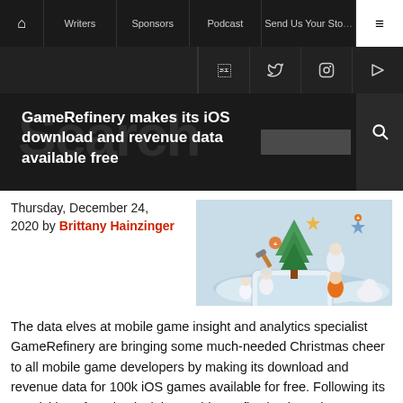🏠  Writers  Sponsors  Podcast  Send Us Your Story  ≡
f  tw  instagram  rss
GameRefinery makes its iOS download and revenue data available free
Thursday, December 24, 2020 by Brittany Hainzinger
[Figure (illustration): 3D rendered Christmas scene with elf figures, Christmas tree, star, and a smartphone on an icy/snowy platform with light blue background]
The data elves at mobile game insight and analytics specialist GameRefinery are bringing some much-needed Christmas cheer to all mobile game developers by making its download and revenue data for 100k iOS games available for free. Following its acquisition of market insight provider Reflection in early 2020, GameRefinery has been gradually integrating the data into its ...